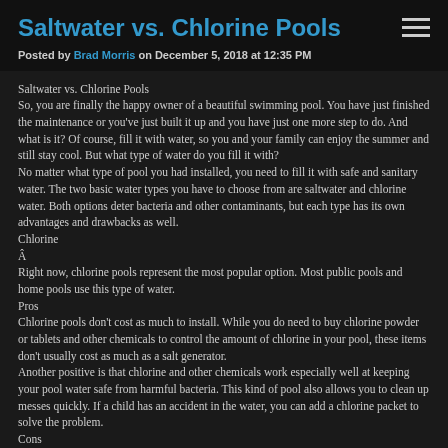Saltwater vs. Chlorine Pools
Posted by Brad Morris on December 5, 2018 at 12:35 PM
Saltwater vs. Chlorine Pools
So, you are finally the happy owner of a beautiful swimming pool. You have just finished the maintenance or you've just built it up and you have just one more step to do. And what is it? Of course, fill it with water, so you and your family can enjoy the summer and still stay cool. But what type of water do you fill it with?
No matter what type of pool you had installed, you need to fill it with safe and sanitary water. The two basic water types you have to choose from are saltwater and chlorine water. Both options deter bacteria and other contaminants, but each type has its own advantages and drawbacks as well.
Chlorine
Â
Right now, chlorine pools represent the most popular option. Most public pools and home pools use this type of water.
Pros
Chlorine pools don't cost as much to install. While you do need to buy chlorine powder or tablets and other chemicals to control the amount of chlorine in your pool, these items don't usually cost as much as a salt generator.
Another positive is that chlorine and other chemicals work especially well at keeping your pool water safe from harmful bacteria. This kind of pool also allows you to clean up messes quickly. If a child has an accident in the water, you can add a chlorine packet to solve the problem.
Cons